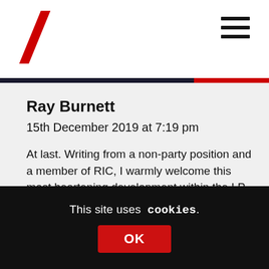Navigation header with logo and hamburger menu
Ray Burnett
15th December 2019 at 7:19 pm
At last. Writing from a non-party position and a member of RIC, I warmly welcome this most heartening development within the LP in Scotland. I hope others on the pro-self determination radical left, of all parties and none, will also give it a warm and comradely welcome.
My only caveat with the broad thrust of the letter is the manner in which it includes
This site uses cookies. OK